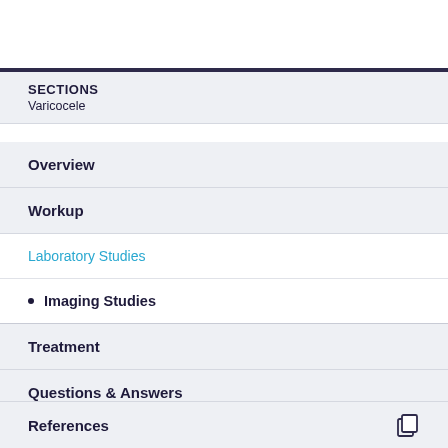SECTIONS
Varicocele
Overview
Workup
Laboratory Studies
Imaging Studies
Treatment
Questions & Answers
Media Gallery
References